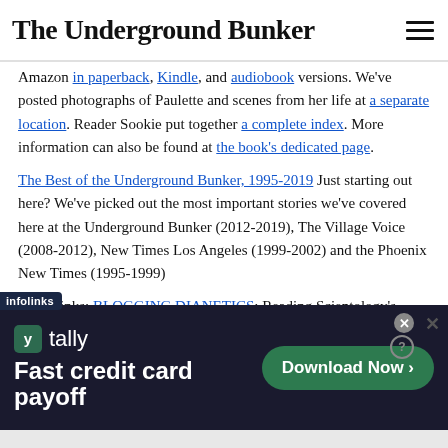The Underground Bunker
Amazon in paperback, Kindle, and audiobook versions. We've posted photographs of Paulette and scenes from her life at a separate location. Reader Sookie put together a complete index. More information can also be found at the book's dedicated page.
The Best of the Underground Bunker, 1995-2019 Just starting out here? We've picked out the most important stories we've covered here at the Underground Bunker (2012-2019), The Village Voice (2008-2012), New Times Los Angeles (1999-2002) and the Phoenix New Times (1995-1999)
Other links: BLOGGING DIANETICS: Reading Scientology's
[Figure (infographic): Advertisement banner for Tally app with text 'Fast credit card payoff' and a green 'Download Now' button. Has infolinks branding label. Close and help buttons visible.]